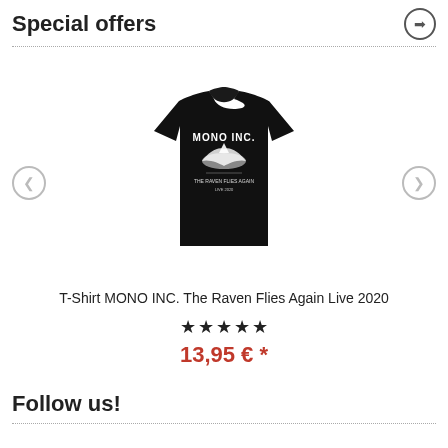Special offers
[Figure (photo): Black T-shirt with MONO INC. The Raven Flies Again Live 2020 print, shown on a white background. The shirt has white graphic design with a bird and text.]
T-Shirt MONO INC. The Raven Flies Again Live 2020
★★★★★
13,95 € *
Follow us!